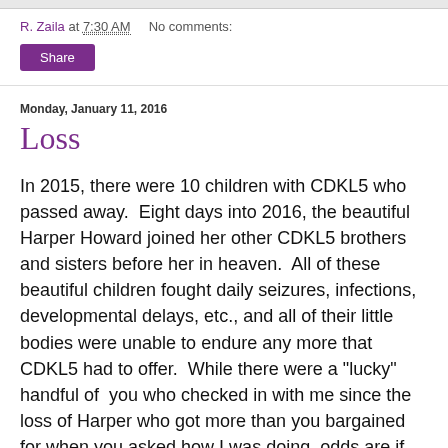R. Zaila at 7:30 AM   No comments:
Share
Monday, January 11, 2016
Loss
In 2015, there were 10 children with CDKL5 who passed away.  Eight days into 2016, the beautiful Harper Howard joined her other CDKL5 brothers and sisters before her in heaven.  All of these beautiful children fought daily seizures, infections, developmental delays, etc., and all of their little bodies were unable to endure any more that CDKL5 had to offer.  While there were a "lucky" handful of  you who checked in with me since the loss of Harper who got more than you bargained for when you asked how I was doing, odds are if you asked me